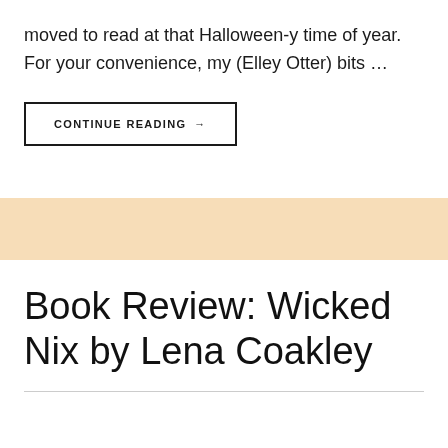moved to read at that Halloween-y time of year. For your convenience, my (Elley Otter) bits …
CONTINUE READING →
Book Review: Wicked Nix by Lena Coakley